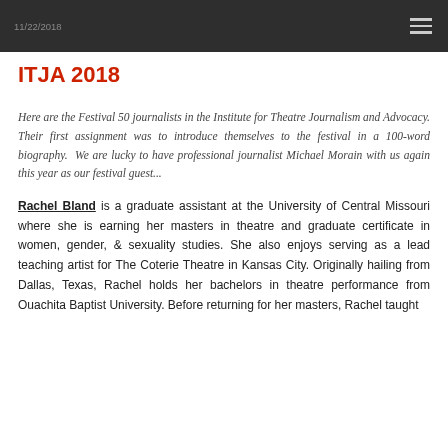11/22/2018
ITJA 2018
Here are the Festival 50 journalists in the Institute for Theatre Journalism and Advocacy. Their first assignment was to introduce themselves to the festival in a 100-word biography. We are lucky to have professional journalist Michael Morain with us again this year as our festival guest...
Rachel Bland is a graduate assistant at the University of Central Missouri where she is earning her masters in theatre and graduate certificate in women, gender, & sexuality studies. She also enjoys serving as a lead teaching artist for The Coterie Theatre in Kansas City. Originally hailing from Dallas, Texas, Rachel holds her bachelors in theatre performance from Ouachita Baptist University. Before returning for her masters, Rachel taught